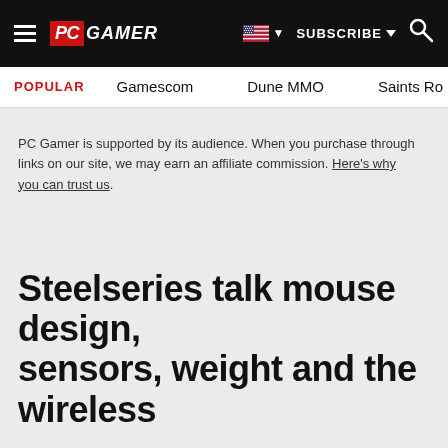PC GAMER — SUBSCRIBE — Search
POPULAR   Gamescom   Dune MMO   Saints Ro
PC Gamer is supported by its audience. When you purchase through links on our site, we may earn an affiliate commission. Here's why you can trust us.
Steelseries talk mouse design, sensors, weight and the wireless